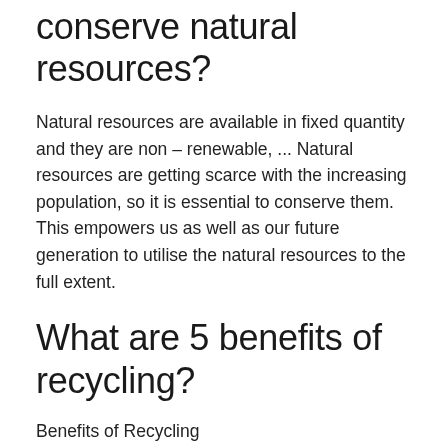conserve natural resources?
Natural resources are available in fixed quantity and they are non – renewable, ... Natural resources are getting scarce with the increasing population, so it is essential to conserve them. This empowers us as well as our future generation to utilise the natural resources to the full extent.
What are 5 benefits of recycling?
Benefits of Recycling
Reduces the amount of waste sent to landfills and incinerators.
Conserves natural resources such as